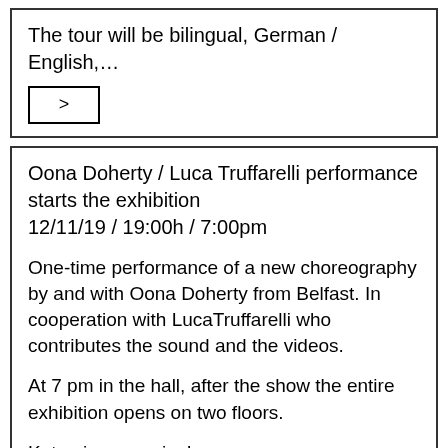The tour will be bilingual, German / English,…
[Figure (other): A small button/box with a '>' arrow symbol inside]
Oona Doherty / Luca Truffarelli performance starts the exhibition
12/11/19 / 19:00h / 7:00pm
One-time performance of a new choreography by and with Oona Doherty from Belfast. In cooperation with LucaTruffarelli who contributes the sound and the videos.
At 7 pm in the hall, after the show the entire exhibition opens on two floors.
Ketamin memories!
Hunter slips into a stream of consciousness with